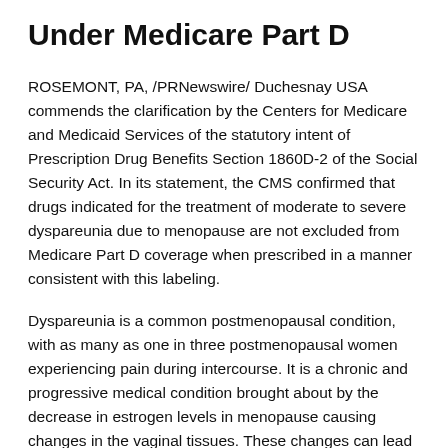Under Medicare Part D
ROSEMONT, PA, /PRNewswire/ Duchesnay USA commends the clarification by the Centers for Medicare and Medicaid Services of the statutory intent of Prescription Drug Benefits Section 1860D-2 of the Social Security Act. In its statement, the CMS confirmed that drugs indicated for the treatment of moderate to severe dyspareunia due to menopause are not excluded from Medicare Part D coverage when prescribed in a manner consistent with this labeling.
Dyspareunia is a common postmenopausal condition, with as many as one in three postmenopausal women experiencing pain during intercourse. It is a chronic and progressive medical condition brought about by the decrease in estrogen levels in menopause causing changes in the vaginal tissues. These changes can lead to a medical